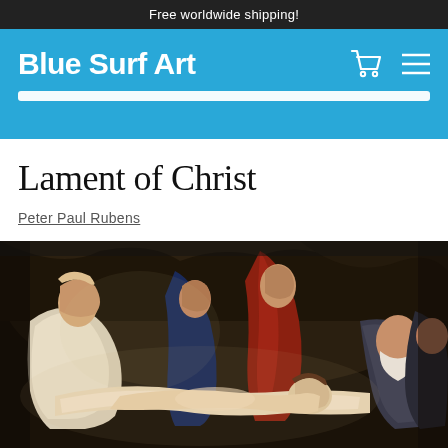Free worldwide shipping!
Blue Surf Art
Lament of Christ
Peter Paul Rubens
[Figure (photo): Oil painting 'Lament of Christ' by Peter Paul Rubens showing several figures mourning over the body of Christ in a dark cave-like setting. A white-robed figure supports Christ's limp body at left, with other mourners including a woman in blue and a man in red robes, and an elderly bearded man at right.]